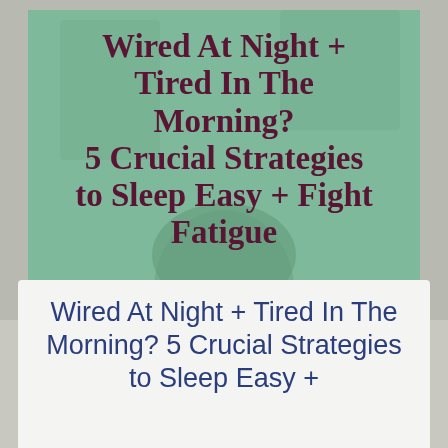[Figure (photo): Background photo of a person resting their head on their hands, appearing tired, with a green semi-transparent overlay box containing the article title text]
Wired At Night + Tired In The Morning? 5 Crucial Strategies to Sleep Easy + Fight Fatigue
Wired At Night + Tired In The Morning? 5 Crucial Strategies to Sleep Easy +